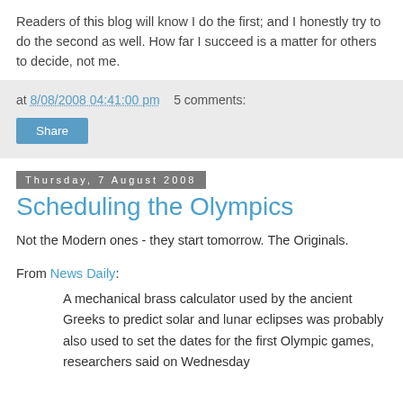Readers of this blog will know I do the first; and I honestly try to do the second as well. How far I succeed is a matter for others to decide, not me.
at 8/08/2008 04:41:00 pm   5 comments:
Share
Thursday, 7 August 2008
Scheduling the Olympics
Not the Modern ones - they start tomorrow. The Originals.
From News Daily:
A mechanical brass calculator used by the ancient Greeks to predict solar and lunar eclipses was probably also used to set the dates for the first Olympic games, researchers said on Wednesday